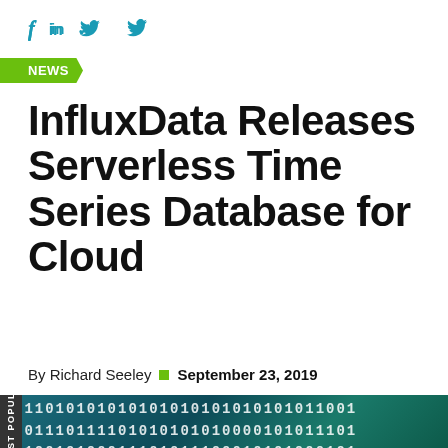f  in  y
NEWS
InfluxData Releases Serverless Time Series Database for Cloud
By Richard Seeley  ■  September 23, 2019
[Figure (photo): Close-up image of binary code (0s and 1s) displayed on a dark teal/green background, with white digits arranged in rows at a slight angle, giving a digital/data technology aesthetic. A vertical dark sidebar on the left reads 'MOST POPULAR'.]